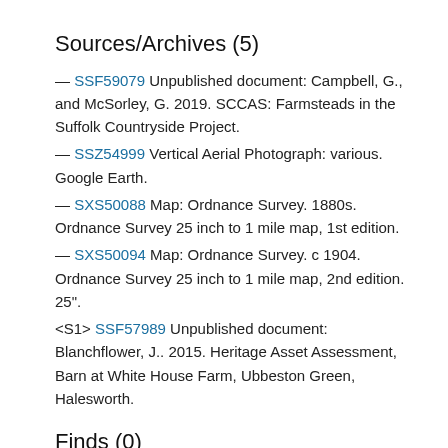Sources/Archives (5)
— SSF59079 Unpublished document: Campbell, G., and McSorley, G. 2019. SCCAS: Farmsteads in the Suffolk Countryside Project.
— SSZ54999 Vertical Aerial Photograph: various. Google Earth.
— SXS50088 Map: Ordnance Survey. 1880s. Ordnance Survey 25 inch to 1 mile map, 1st edition.
— SXS50094 Map: Ordnance Survey. c 1904. Ordnance Survey 25 inch to 1 mile map, 2nd edition. 25".
<S1> SSF57989 Unpublished document: Blanchflower, J.. 2015. Heritage Asset Assessment, Barn at White House Farm, Ubbeston Green, Halesworth.
Finds (0)
Protected Status/Designation
Listed Building (II) 286133: WHITE HOUSE